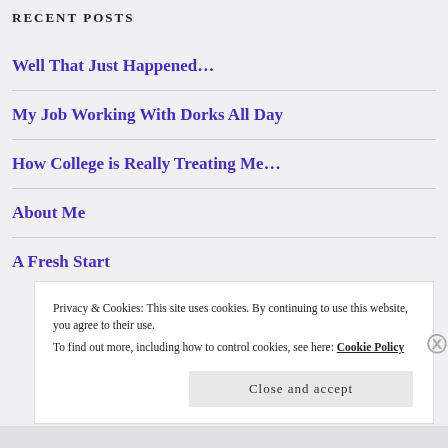RECENT POSTS
Well That Just Happened…
My Job Working With Dorks All Day
How College is Really Treating Me…
About Me
A Fresh Start
Privacy & Cookies: This site uses cookies. By continuing to use this website, you agree to their use.
To find out more, including how to control cookies, see here: Cookie Policy
Close and accept